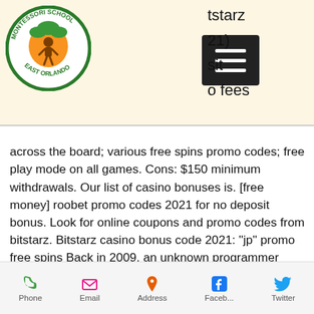[Figure (logo): Montessori School East Orlando circular logo with orange tree graphic]
tstarz
21)
sit
o fees
across the board; various free spins promo codes; free play mode on all games. Cons: $150 minimum withdrawals. Our list of casino bonuses is. [free money] roobet promo codes 2021 for no deposit bonus. Look for online coupons and promo codes from bitstarz. Bitstarz casino bonus code 2021: &quot;jp&quot; promo free spins Back in 2009, an unknown programmer (although it could be a group of programmers) under the pseudonym Satoshi Nakamoto has created a fundamentally new virtual money - Bitcoin, bitstarz casino no deposit bonus codes 2021.
In China, buying bitcoins with yuan is subject
Phone   Email   Address   Faceb...   Twitter